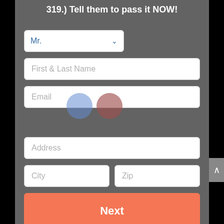319.) Tell them to pass it NOW!
[Figure (screenshot): Web form with salutation dropdown (Mr.), fields for First & Last Name, Email, Address, City, Zip, and a Next button on a dark grey background. Two decorative circles (blue and dark red) overlay the Email field area.]
Mr.
First & Last Name
Email
Address
City
Zip
Next